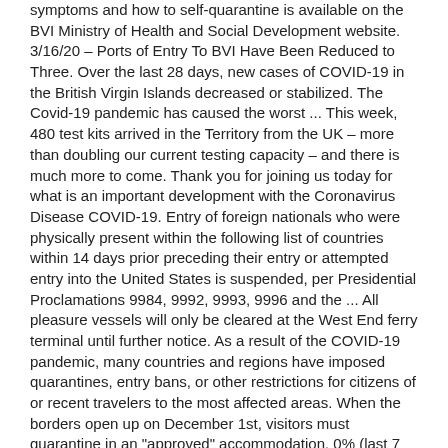symptoms and how to self-quarantine is available on the BVI Ministry of Health and Social Development website. 3/16/20 – Ports of Entry To BVI Have Been Reduced to Three. Over the last 28 days, new cases of COVID-19 in the British Virgin Islands decreased or stabilized. The Covid-19 pandemic has caused the worst ... This week, 480 test kits arrived in the Territory from the UK – more than doubling our current testing capacity – and there is much more to come. Thank you for joining us today for what is an important development with the Coronavirus Disease COVID-19. Entry of foreign nationals who were physically present within the following list of countries within 14 days prior preceding their entry or attempted entry into the United States is suspended, per Presidential Proclamations 9984, 9992, 9993, 9996 and the ... All pleasure vessels will only be cleared at the West End ferry terminal until further notice. As a result of the COVID-19 pandemic, many countries and regions have imposed quarantines, entry bans, or other restrictions for citizens of or recent travelers to the most affected areas. When the borders open up on December 1st, visitors must quarantine in an "approved" accommodation. 0% (last 7 days) Can you enter? 1: The global viral pandemic of coronavirus disease 2019 (COVID-19) was confirmed to have reached the British ... Other countries and regions have imposed global restrictions that apply to all foreign countries and territories, or prevent their own citizens from travelling overseas. If your stay needs to be extended due to coronavirus related restrictions, a UK prescription will be honoured by local pharmacies provided the prescribed medicine is available in the BVI. Minister for Health Carvin Malone today confirmed another imported positive case of COVID-19 in the territory. Freight couriers and charter companies are